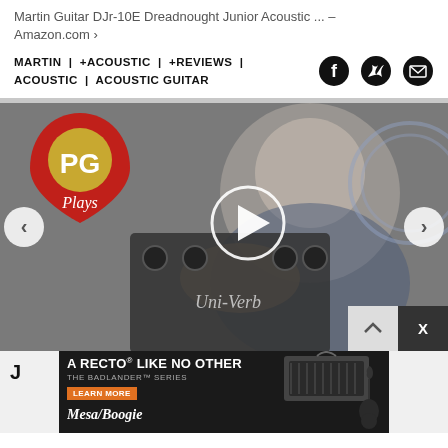Martin Guitar DJr-10E Dreadnought Junior Acoustic ... - Amazon.com ›
MARTIN | +ACOUSTIC | +REVIEWS | ACOUSTIC | ACOUSTIC GUITAR
[Figure (screenshot): PG Plays video thumbnail showing a man holding a Uni-Verb guitar pedal, with PG Plays logo overlay and a play button in the center. Navigation arrows on left and right sides.]
[Figure (screenshot): Mesa/Boogie advertisement: 'A RECTO LIKE NO OTHER - THE BADLANDER SERIES' with LEARN MORE button and image of amplifier head and guitar.]